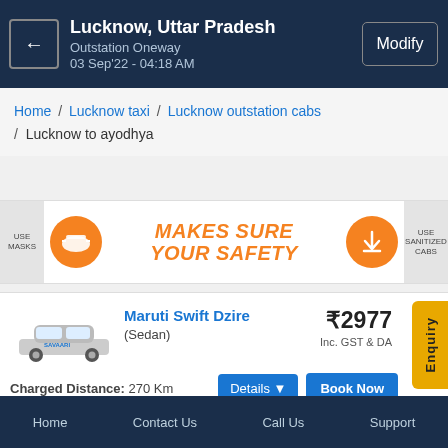Lucknow, Uttar Pradesh | Outstation Oneway | 03 Sep'22 - 04:18 AM | Modify
Home / Lucknow taxi / Lucknow outstation cabs / Lucknow to ayodhya
[Figure (infographic): Safety banner: USE MASKS icon on left, MAKES SURE YOUR SAFETY in orange bold text center, USE SANITIZED CABS icon on right]
Maruti Swift Dzire (Sedan) ₹2977 Inc. GST & DA Charged Distance: 270 Km
Home | Contact Us | Call Us | Support